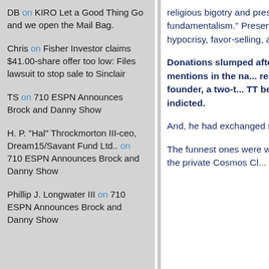DB on KIRO Let a Good Thing Go and we open the Mail Bag.
Chris on Fisher Investor claims $41.00-share offer too low: Files lawsuit to stop sale to Sinclair
TS on 710 ESPN Announces Brock and Danny Show
H. P. "Hal" Throckmorton III-ceo, Dream15/Savant Fund Ltd.. on 710 ESPN Announces Brock and Danny Show
Phillip J. Longwater III on 710 ESPN Announces Brock and Danny Show
religious bigotry and prese... Sometimes he says it's to f... fundamentalism." Preservi... is high on his list, but we're... hypocrisy, favor-selling, an... figures into his much ballyh...
Donations slumped after organization became rad... many mentions in the na... relationship with Abramo... friend, a founder, a two-t... TT before being uncerem... being indicted.
And, he had exchanged sc... emails with Lapin.
The funnest ones were wh... to make up an award or tw... into the private Cosmos Cl... Prize winners and others...